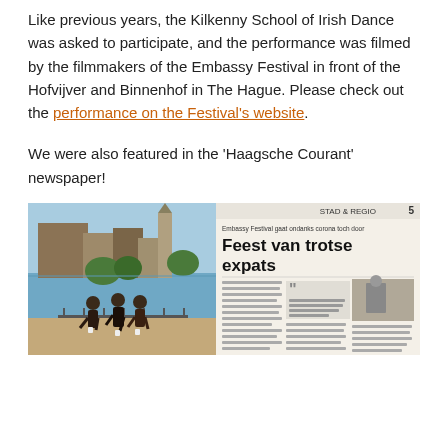Like previous years, the Kilkenny School of Irish Dance was asked to participate, and the performance was filmed by the filmmakers of the Embassy Festival in front of the Hofvijver and Binnenhof in The Hague. Please check out the performance on the Festival's website.
We were also featured in the 'Haagsche Courant' newspaper!
[Figure (photo): Three girls in Irish dance costumes posing in front of the Hofvijver pond and Binnenhof buildings in The Hague on a sunny day.]
[Figure (photo): Newspaper clipping from Haagsche Courant with headline 'Feest van trotse expats' and subheading 'Embassy Festival gaat ondanks corona toch door', page STAD & REGIO 5.]